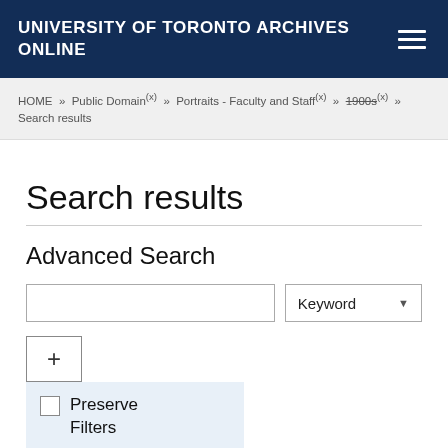UNIVERSITY OF TORONTO ARCHIVES ONLINE
HOME » Public Domain(x) » Portraits - Faculty and Staff(x) » 1900s(x) » Search results
Search results
Advanced Search